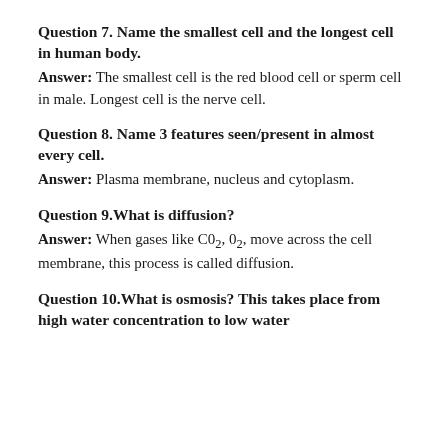Question 7. Name the smallest cell and the longest cell in human body.
Answer: The smallest cell is the red blood cell or sperm cell in male. Longest cell is the nerve cell.
Question 8. Name 3 features seen/present in almost every cell.
Answer: Plasma membrane, nucleus and cytoplasm.
Question 9. What is diffusion?
Answer: When gases like CO2, O2, move across the cell membrane, this process is called diffusion.
Question 10. What is osmosis? This takes place from high water concentration to low water